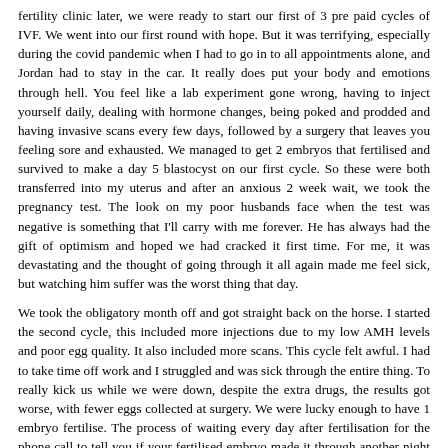fertility clinic later, we were ready to start our first of 3 pre paid cycles of IVF. We went into our first round with hope. But it was terrifying, especially during the covid pandemic when I had to go in to all appointments alone, and Jordan had to stay in the car. It really does put your body and emotions through hell. You feel like a lab experiment gone wrong, having to inject yourself daily, dealing with hormone changes, being poked and prodded and having invasive scans every few days, followed by a surgery that leaves you feeling sore and exhausted. We managed to get 2 embryos that fertilised and survived to make a day 5 blastocyst on our first cycle. So these were both transferred into my uterus and after an anxious 2 week wait, we took the pregnancy test. The look on my poor husbands face when the test was negative is something that I'll carry with me forever. He has always had the gift of optimism and hoped we had cracked it first time. For me, it was devastating and the thought of going through it all again made me feel sick, but watching him suffer was the worst thing that day.
We took the obligatory month off and got straight back on the horse. I started the second cycle, this included more injections due to my low AMH levels and poor egg quality. It also included more scans. This cycle felt awful. I had to take time off work and I struggled and was sick through the entire thing. To really kick us while we were down, despite the extra drugs, the results got worse, with fewer eggs collected at surgery. We were lucky enough to have 1 embryo fertilise. The process of waiting every day after fertilisation for the phone call to tell you if your fertilised embryo made it through another night is exhaustingly anxiety inducing. But the embryo survived to be transferred.
So we started the 2 week wait once again. This time I was more hopeful, because I felt pregnant. I had the symptoms and I had a good feeling. But I was wrong. Once again, test day came, and the crushing blow of a negative result hit us in the hardest way yet. I also had 10 days worth of crippling cramps that I